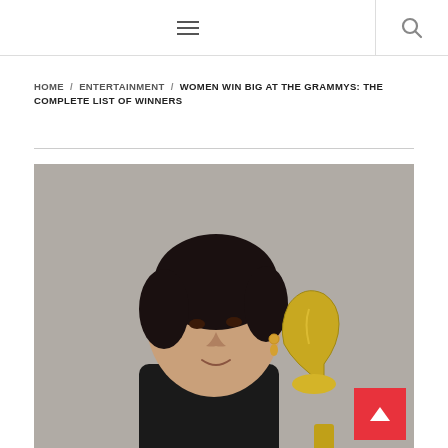Navigation bar with hamburger menu and search icon
HOME / ENTERTAINMENT / WOMEN WIN BIG AT THE GRAMMYS: THE COMPLETE LIST OF WINNERS
[Figure (photo): A woman (Alicia Keys) holding a Grammy award trophy, photographed against a gray background]